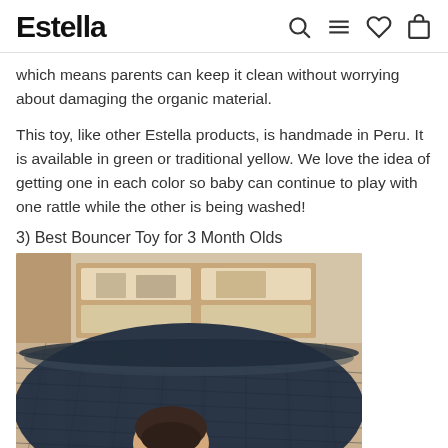Estella
which means parents can keep it clean without worrying about damaging the organic material.
This toy, like other Estella products, is handmade in Peru. It is available in green or traditional yellow. We love the idea of getting one in each color so baby can continue to play with one rattle while the other is being washed!
3) Best Bouncer Toy for 3 Month Olds
[Figure (photo): A baby lying in a dark navy mesh bouncer seat, photographed from above. Blurred background shows wooden shelving with items on it.]